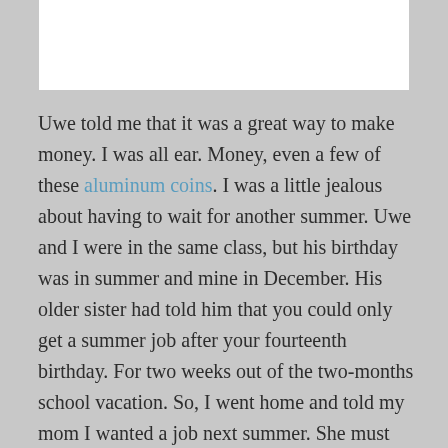[Figure (other): White rectangular box at the top of the page]
Uwe told me that it was a great way to make money. I was all ear. Money, even a few of these aluminum coins. I was a little jealous about having to wait for another summer. Uwe and I were in the same class, but his birthday was in summer and mine in December. His older sister had told him that you could only get a summer job after your fourteenth birthday. For two weeks out of the two-months school vacation. So, I went home and told my mom I wanted a job next summer. She must have helped me, but I forget how I found the gig in the little furniture factory in town. Everybody called it the Table Factory – Tischfabrik. I guess that's what they